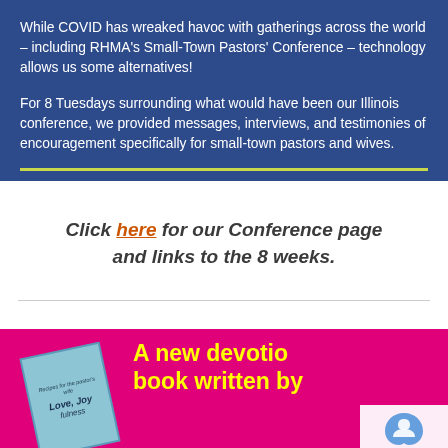While COVID has wreaked havoc with gatherings across the world – including RHMA's Small-Town Pastors' Conference – technology allows us some alternatives!
For 8 Tuesdays surrounding what would have been our Illinois conference, we provided messages, interviews, and testimonies of encouragement specifically for small-town pastors and wives.
Click here for our Conference page and links to the 8 weeks.
[Figure (other): Pink promotional banner section with a book cover image of 'Love, Joy, Faithfulness' tilted at an angle on the left, and yellow bold text on the right reading 'A new devotio... book written by...' partially visible. A reCAPTCHA privacy overlay appears in the bottom right corner.]